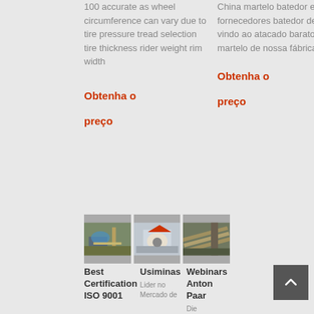100 accurate as wheel circumference can vary due to tire pressure tread selection tire thickness rider weight rim width
China martelo batedor e fornecedores batedor de bem vindo ao atacado barato martelo de nossa fábrica.
Obtenha o preço
Obtenha o preço
[Figure (photo): Industrial mining machinery with blue arch structure in outdoor setting]
[Figure (photo): Industrial crusher or processing machine with red and white parts]
[Figure (photo): Mining conveyor belt or industrial equipment outdoors]
Best Certification ISO 9001
Usiminas
Webinars Anton Paar
Lider no Mercado de
Die